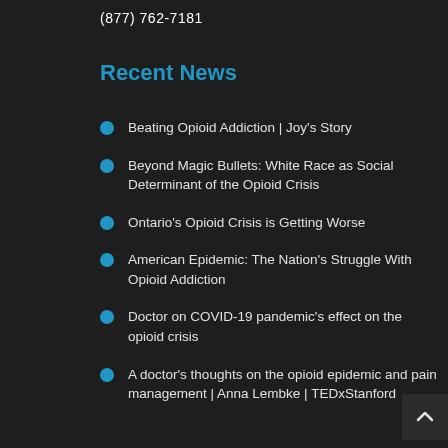(877) 762-7181
Recent News
Beating Opioid Addiction | Joy's Story
Beyond Magic Bullets: White Race as Social Determinant of the Opioid Crisis
Ontario's Opioid Crisis is Getting Worse
American Epidemic: The Nation's Struggle With Opioid Addiction
Doctor on COVID-19 pandemic's effect on the opioid crisis
A doctor's thoughts on the opioid epidemic and pain management | Anna Lembke | TEDxStanford